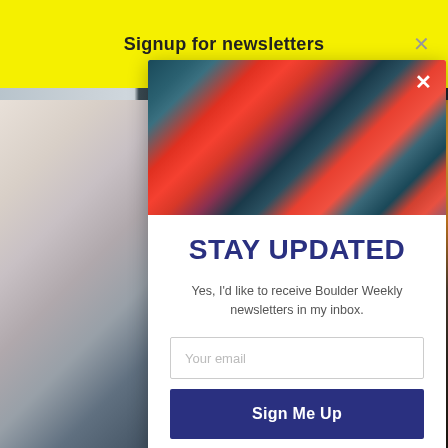Signup for newsletters
[Figure (photo): Colorful aerial/landscape photo with red and teal tones inside the modal popup]
STAY UPDATED
Yes, I'd like to receive Boulder Weekly newsletters in my inbox.
Your email
Sign Me Up